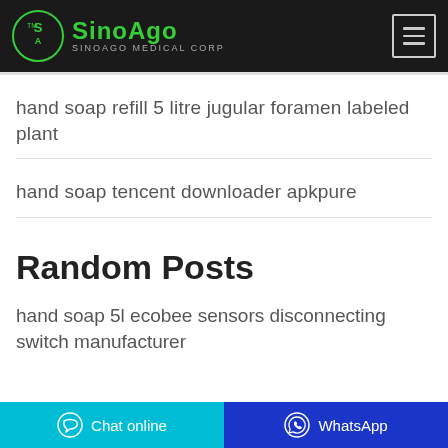SinoAgo SINOAGO MEDICAL Corp
hand soap refill 5 litre jugular foramen labeled plant
hand soap tencent downloader apkpure
Random Posts
hand soap 5l ecobee sensors disconnecting switch manufacturer
Chat online | WhatsApp